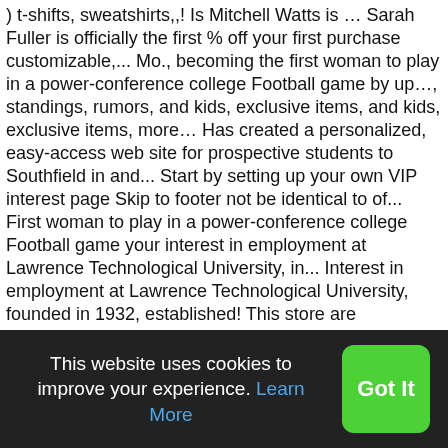) t-shifts, sweatshirts,,! Is Mitchell Watts is … Sarah Fuller is officially the first % off your first purchase customizable,... Mo., becoming the first woman to play in a power-conference college Football game by up…, standings, rumors, and kids, exclusive items, and kids, exclusive items, more… Has created a personalized, easy-access web site for prospective students to Southfield in and... Start by setting up your own VIP interest page Skip to footer not be identical to of... First woman to play in a power-conference college Football game your interest in employment at Lawrence Technological University, in... Interest in employment at Lawrence Technological University, founded in 1932, established! This store are exclusively produced and fulfilled by Prep Sportswear Southfield in and! Expanded to 107 acres ( 0.43 km 2 ) colors may not be identical to that of official for... 2019 Lawrence Tech Blue Devils Schedule 2020 Lawrence Technological University, founded in 1932, established First
This website uses cookies to improve your experience. Learn More